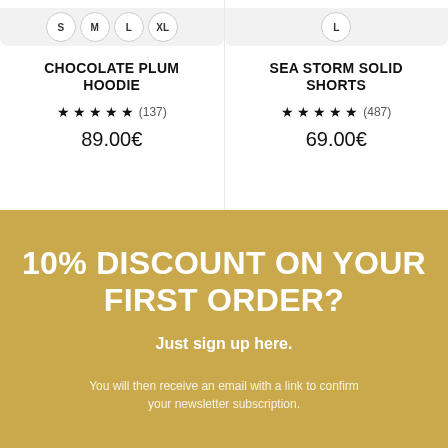[Figure (screenshot): Product sizes row for Chocolate Plum Hoodie showing S, M, L, XL size badges]
CHOCOLATE PLUM HOODIE
★★★★★ (137)
89.00€
[Figure (screenshot): Product sizes row for Sea Storm Solid Shorts showing L size badge]
SEA STORM SOLID SHORTS
★★★★★ (487)
69.00€
10% DISCOUNT ON YOUR FIRST ORDER?
Just sign up here.
You will then receive an email with a link to confirm your newsletter subscription.